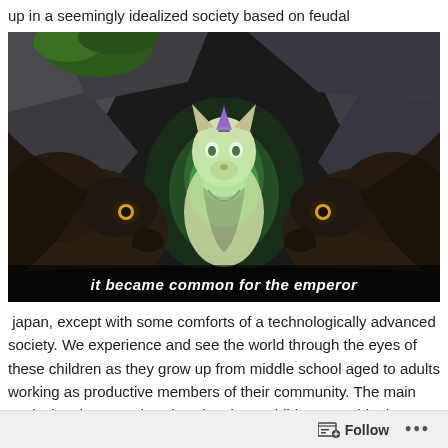up in a seemingly idealized society based on feudal
[Figure (screenshot): Animated scene showing a glowing green fox-like creature with a horn sitting between two large dark beast creatures in a rocky cave setting, with subtitle text at the bottom reading 'it became common for the emperor']
japan, except with some comforts of a technologically advanced society. We experience and see the world through the eyes of these children as they grow up from middle school aged to adults working as productive members of their community. The main tactic the show employs is using these children to guide the narrative
Follow ...